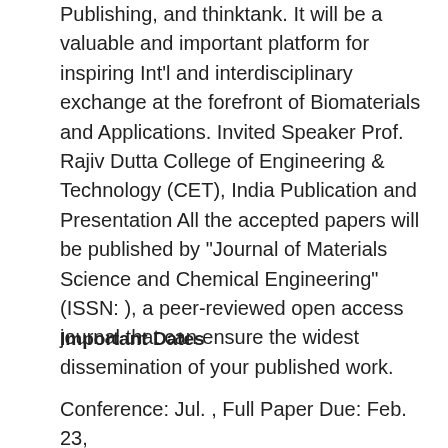Publishing, and thinktank. It will be a valuable and important platform for inspiring Int'l and interdisciplinary exchange at the forefront of Biomaterials and Applications. Invited Speaker Prof. Rajiv Dutta College of Engineering & Technology (CET), India Publication and Presentation All the accepted papers will be published by "Journal of Materials Science and Chemical Engineering" (ISSN: ), a peer-reviewed open access journal that can ensure the widest dissemination of your published work.
Important Dates
Conference: Jul. , Full Paper Due: Feb. 23,